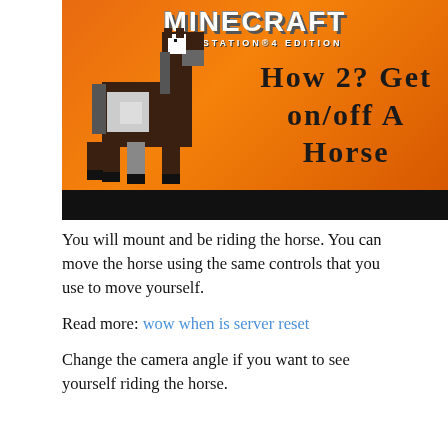[Figure (screenshot): Minecraft PlayStation 4 Edition thumbnail showing a blocky horse on an orange gradient background with text 'How 2? Get on/off A Horse']
You will mount and be riding the horse. You can move the horse using the same controls that you use to move yourself.
Read more: wow when is server reset
Change the camera angle if you want to see yourself riding the horse.